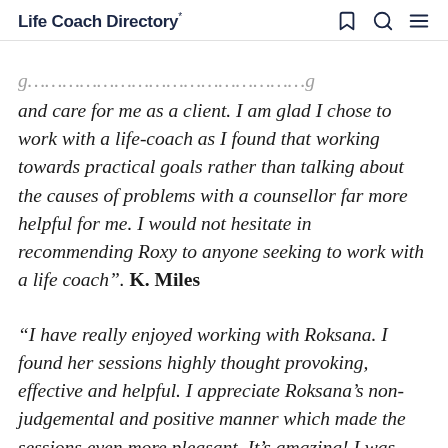Life Coach Directory*
and care for me as a client. I am glad I chose to work with a life-coach as I found that working towards practical goals rather than talking about the causes of problems with a counsellor far more helpful for me. I would not hesitate in recommending Roxy to anyone seeking to work with a life coach". K. Miles
“I have really enjoyed working with Roksana. I found her sessions highly thought provoking, effective and helpful. I appreciate Roksana’s non-judgemental and positive manner which made the sessions even more pleasant. It’s amazing! I was always struggling with